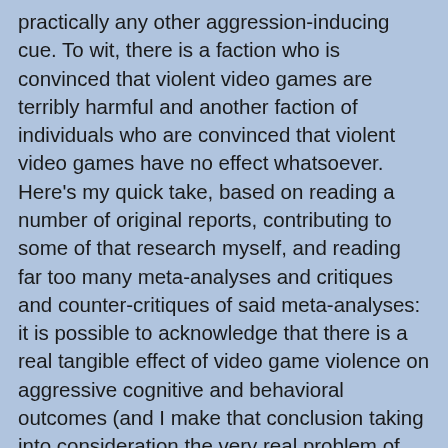practically any other aggression-inducing cue. To wit, there is a faction who is convinced that violent video games are terribly harmful and another faction of individuals who are convinced that violent video games have no effect whatsoever. Here's my quick take, based on reading a number of original reports, contributing to some of that research myself, and reading far too many meta-analyses and critiques and counter-critiques of said meta-analyses: it is possible to acknowledge that there is a real tangible effect of video game violence on aggressive cognitive and behavioral outcomes (and I make that conclusion taking into consideration the very real problem of publication bias) and also acknowledge that video game violence is highly unlikely to be an antecedent to real life violence. My reading of the literature has led me to conclude that following scenario is likely the most plausible short term effect of playing video games: if one happens to interrupt a gamer while playing their favorite game, they will probably say some very regrettable things to you that they would not otherwise say, because aggressive thoughts have been primed by their immediate stimuli, they have been provoked (in this case interrupted while trying to concentrate) and attribute their